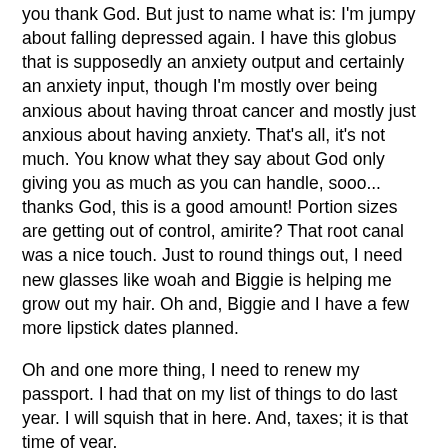you thank God. But just to name what is: I'm jumpy about falling depressed again. I have this globus that is supposedly an anxiety output and certainly an anxiety input, though I'm mostly over being anxious about having throat cancer and mostly just anxious about having anxiety. That's all, it's not much. You know what they say about God only giving you as much as you can handle, sooo... thanks God, this is a good amount! Portion sizes are getting out of control, amirite? That root canal was a nice touch. Just to round things out, I need new glasses like woah and Biggie is helping me grow out my hair. Oh and, Biggie and I have a few more lipstick dates planned.
Oh and one more thing, I need to renew my passport. I had that on my list of things to do last year. I will squish that in here. And, taxes; it is that time of year.
3 - Play: second pass at studying muscles and movement
So I started the beginning of the year with 1) having to cancel a week of appointments because I had a cold, 2) losing a client, and 3) wrestling with availability of the squat rack at my gym. I had just gotten my remaining clients